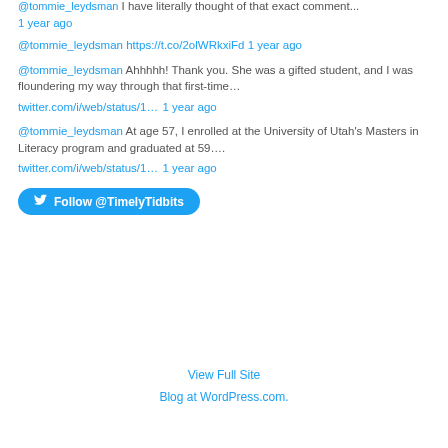@tommie_leydsman I have literally thought of that exact comment... 1 year ago
@tommie_leydsman https://t.co/2olWRkxiFd 1 year ago
@tommie_leydsman Ahhhhh! Thank you. She was a gifted student, and I was floundering my way through that first-time… twitter.com/i/web/status/1… 1 year ago
@tommie_leydsman At age 57, I enrolled at the University of Utah's Masters in Literacy program and graduated at 59…. twitter.com/i/web/status/1… 1 year ago
Follow @TimelyTidbits
View Full Site
Blog at WordPress.com.